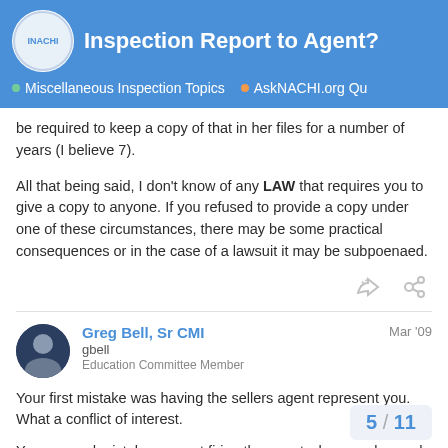Inspection Report to Agent? | Miscellaneous Inspection Topics | AskNACHI.org Qu
be required to keep a copy of that in her files for a number of years (I believe 7).
All that being said, I don't know of any LAW that requires you to give a copy to anyone. If you refused to provide a copy under one of these circumstances, there may be some practical consequences or in the case of a lawsuit it may be subpoenaed.
Greg Bell, Sr CMI
gbell
Education Committee Member
Mar '09
Your first mistake was having the sellers agent represent you. What a conflict of interest.
Your second mistake was not firing the agent when you learned that they represent the seller.
5 / 11